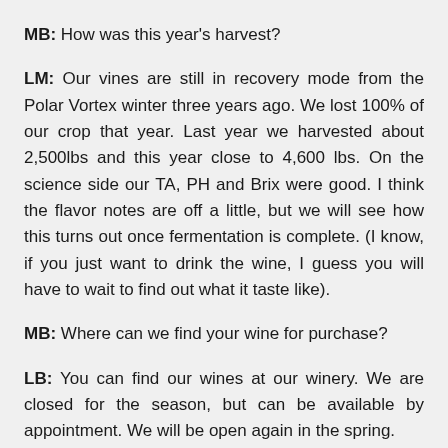MB: How was this year's harvest?
LM: Our vines are still in recovery mode from the Polar Vortex winter three years ago. We lost 100% of our crop that year. Last year we harvested about 2,500lbs and this year close to 4,600 lbs. On the science side our TA, PH and Brix were good. I think the flavor notes are off a little, but we will see how this turns out once fermentation is complete. (I know, if you just want to drink the wine, I guess you will have to wait to find out what it taste like).
MB: Where can we find your wine for purchase?
LB: You can find our wines at our winery. We are closed for the season, but can be available by appointment. We will be open again in the spring.
MB: If you...